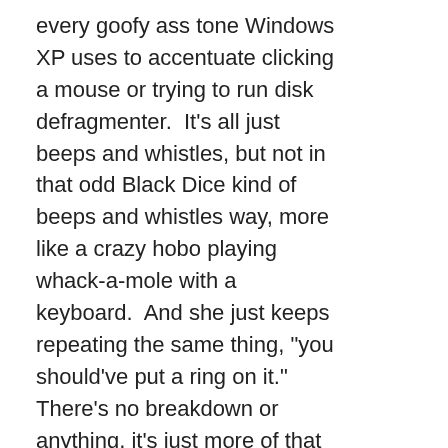every goofy ass tone Windows XP uses to accentuate clicking a mouse or trying to run disk defragmenter.  It's all just beeps and whistles, but not in that odd Black Dice kind of beeps and whistles way, more like a crazy hobo playing whack-a-mole with a keyboard.  And she just keeps repeating the same thing, "you should've put a ring on it."  There's no breakdown or anything, it's just more of that